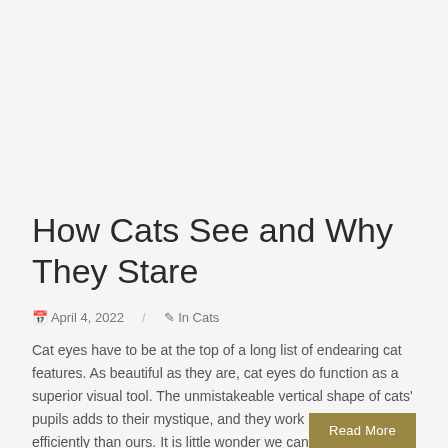How Cats See and Why They Stare
April 4, 2022  / In Cats
Cat eyes have to be at the top of a long list of endearing cat features. As beautiful as they are, cat eyes do function as a superior visual tool. The unmistakeable vertical shape of cats' pupils adds to their mystique, and they work much more efficiently than ours. It is little wonder we can [...]
Read More